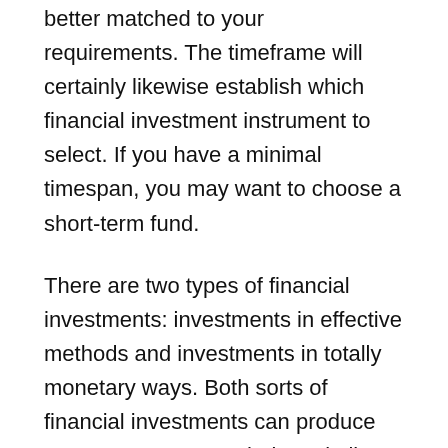better matched to your requirements. The timeframe will certainly likewise establish which financial investment instrument to select. If you have a minimal timespan, you may want to choose a short-term fund.
There are two types of financial investments: investments in effective methods and investments in totally monetary ways. Both sorts of financial investments can produce monetary returns to their capitalists. But simply monetary investments do not contribute to productive capability. You may have become aware of the term “capitalization” before, but what does this suggest? By profiting from these 2 kinds of financial investments, you will certainly develop a greater financial development. This is a